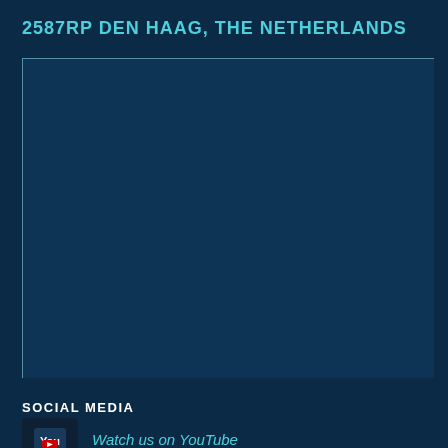2587RP DEN HAAG, THE NETHERLANDS
[Figure (map): Blue map area with white/light border outline on left and top edges, dark navy background]
SOCIAL MEDIA
Watch us on YouTube